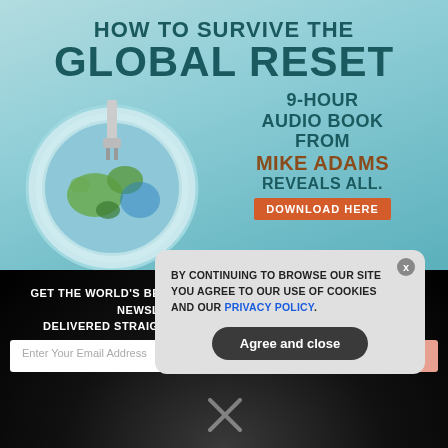[Figure (illustration): Advertisement banner with teal/light blue background showing a globe plugged into an outlet, with bold dark teal text 'HOW TO SURVIVE THE GLOBAL RESET' and '9-HOUR AUDIO BOOK FROM MIKE ADAMS REVEALS ALL.' with an orange Download Here button.]
GET THE WORLD'S BEST NATURAL HEALTH NEWSLETTER DELIVERED STRAIGHT TO YOUR INBOX
Enter Your Email Address
SUBSCRIBE
BY CONTINUING TO BROWSE OUR SITE YOU AGREE TO OUR USE OF COOKIES AND OUR PRIVACY POLICY.
Agree and close